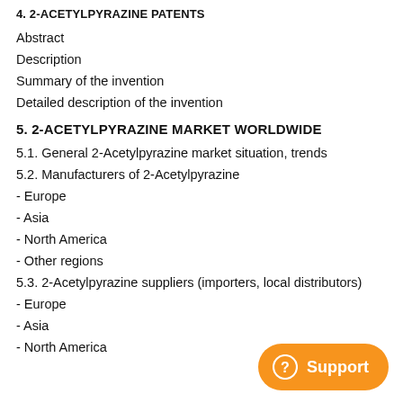4. 2-ACETYLPYRAZINE PATENTS
Abstract
Description
Summary of the invention
Detailed description of the invention
5. 2-ACETYLPYRAZINE MARKET WORLDWIDE
5.1. General 2-Acetylpyrazine market situation, trends
5.2. Manufacturers of 2-Acetylpyrazine
- Europe
- Asia
- North America
- Other regions
5.3. 2-Acetylpyrazine suppliers (importers, local distributors)
- Europe
- Asia
- North America